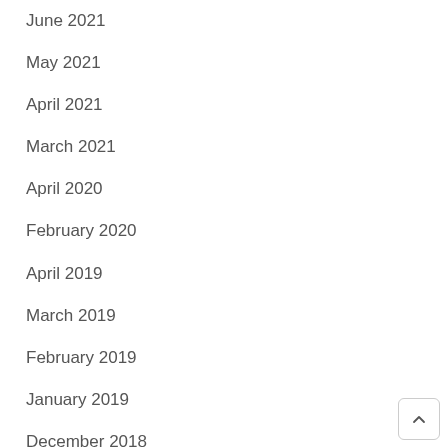June 2021
May 2021
April 2021
March 2021
April 2020
February 2020
April 2019
March 2019
February 2019
January 2019
December 2018
November 2018
October 2018
September 2018